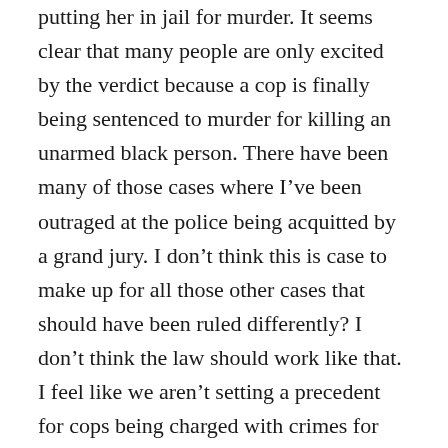putting her in jail for murder.  It seems clear that many people are only excited by the verdict because a cop is finally being sentenced to murder for killing an unarmed black person.  There have been many of those cases where I've been outraged at the police being acquitted by a grand jury.  I don't think this is case to make up for all those other cases that should have been ruled differently?  I don't think the law should work like that.  I feel like we aren't setting a precedent for cops being charged with crimes for killing unarmed people, I feel like we are saying that the verdict for one person's crime should make up for past injustices.
Ms. Guyger made some bad decisions, but I don't feel she's a murderer.  I hope that testimony today will convince the judge that she doesn't deserve a life in